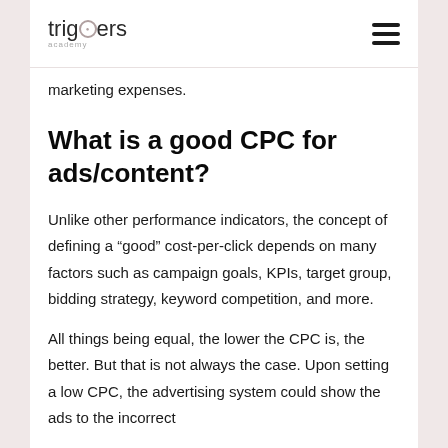triggers academy
marketing expenses.
What is a good CPC for ads/content?
Unlike other performance indicators, the concept of defining a “good” cost-per-click depends on many factors such as campaign goals, KPIs, target group, bidding strategy, keyword competition, and more.
All things being equal, the lower the CPC is, the better. But that is not always the case. Upon setting a low CPC, the advertising system could show the ads to the incorrect